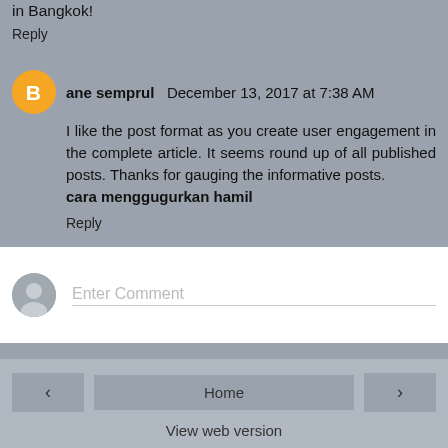in Bangkok!
Reply
ane semprul  December 13, 2017 at 7:38 AM
I like the post format as you create user engagement in the complete article. It seems round up of all published posts. Thanks for gauging the informative posts. cara menggugurkan hamil
Reply
Enter Comment
Home | View web version | Powered by Blogger